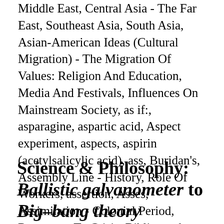Middle East, Central Asia - The Far East, Southeast Asia, South Asia, Asian-American Ideas (Cultural Migration) - The Migration Of Values: Religion And Education, Media And Festivals, Influences On Mainstream Society, as if:, asparagine, aspartic acid, Aspect experiment, aspects, aspirin (acetylsalicylic acid), ass, Buridan's, Assembly Line - History, Role Of Workers, assertion, Asses, Assimilation - Colonial Period, Responses To Crisis, Bibliography...
Science & Philosophy: Ballistic galvanometer to Big–bang theory